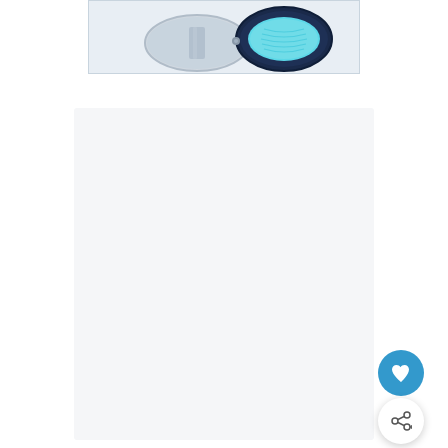[Figure (photo): A cosmetic compact product shown open, with a silver/chrome exterior case on the left and a dark navy blue interior with turquoise/teal pigment on the right. Photographed on white background.]
[Figure (photo): Large white/light gray empty content area below the product image, part of a product listing page layout.]